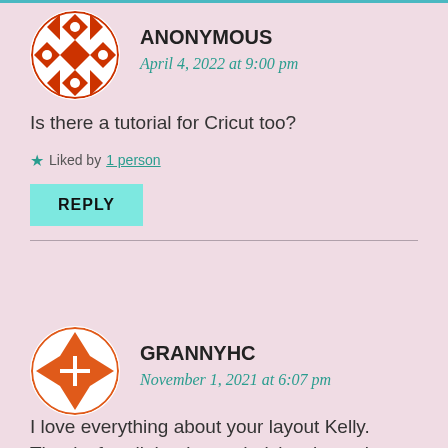[Figure (illustration): Circular avatar with red geometric quilt-like pattern on white background]
ANONYMOUS
April 4, 2022 at 9:00 pm
Is there a tutorial for Cricut too?
★ Liked by 1 person
REPLY
[Figure (illustration): Circular avatar with orange geometric triangles and squares pattern on white background]
GRANNYHC
November 1, 2021 at 6:07 pm
I love everything about your layout Kelly. Thanks for all the tips and tricks about vi...